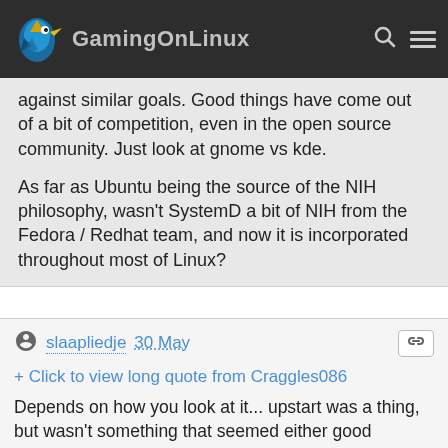GamingOnLinux
against similar goals. Good things have come out of a bit of competition, even in the open source community. Just look at gnome vs kde.

As far as Ubuntu being the source of the NIH philosophy, wasn't SystemD a bit of NIH from the Fedora / Redhat team, and now it is incorporated throughout most of Linux?
slaapliedje 30 May
+ Click to view long quote from Craggles086
Depends on how you look at it... upstart was a thing, but wasn't something that seemed either good enough, or widely tested enough for all the other distributions to adopt. Plus it literally only covered init, whereas systemd covers much more. Systemd for